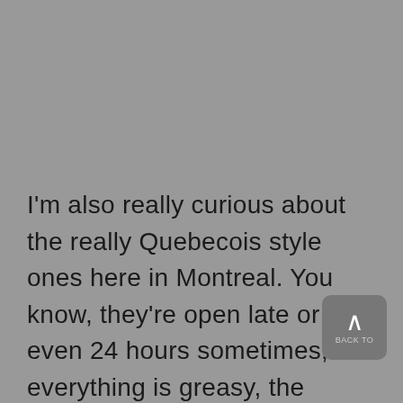I'm also really curious about the really Quebecois style ones here in Montreal. You know, they're open late or even 24 hours sometimes, everything is greasy, the servers don't really speak anything but French (good things im getting able to be sup chatty in french, heheh)..... they always so tempting at 2 AM, lol. My boyfriend drags me into them sometimes way too early in